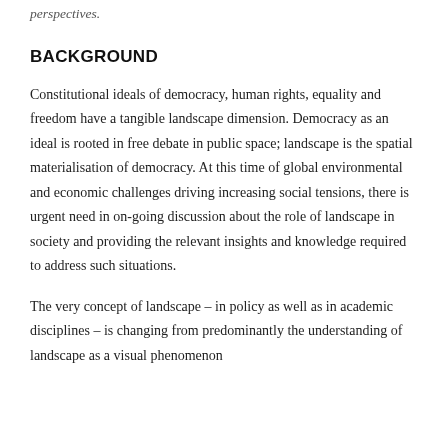perspectives.
BACKGROUND
Constitutional ideals of democracy, human rights, equality and freedom have a tangible landscape dimension. Democracy as an ideal is rooted in free debate in public space; landscape is the spatial materialisation of democracy. At this time of global environmental and economic challenges driving increasing social tensions, there is urgent need in on-going discussion about the role of landscape in society and providing the relevant insights and knowledge required to address such situations.
The very concept of landscape – in policy as well as in academic disciplines – is changing from predominantly the understanding of landscape as a visual phenomenon